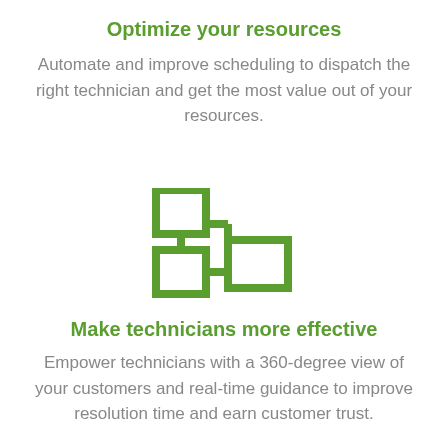Optimize your resources
Automate and improve scheduling to dispatch the right technician and get the most value out of your resources.
[Figure (illustration): Green outline icon showing interconnected boxes/workflow diagram representing scheduling or resource optimization]
Make technicians more effective
Empower technicians with a 360-degree view of your customers and real-time guidance to improve resolution time and earn customer trust.